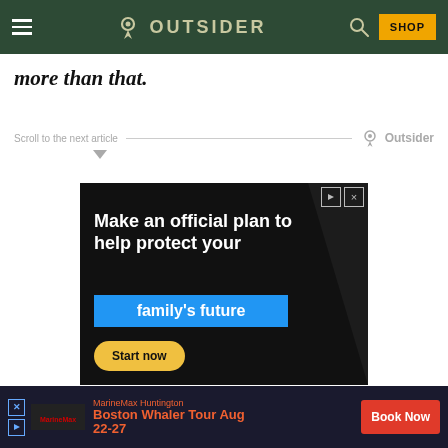OUTSIDER
more than that.
Scroll to the next article  ▼  Outsider
[Figure (screenshot): Advertisement: Make an official plan to help protect your family's future. Start now button. Dark background with blue highlighted text box.]
[Figure (screenshot): Bottom advertisement bar: MarineMax Huntington. Boston Whaler Tour Aug 22-27. Book Now button.]